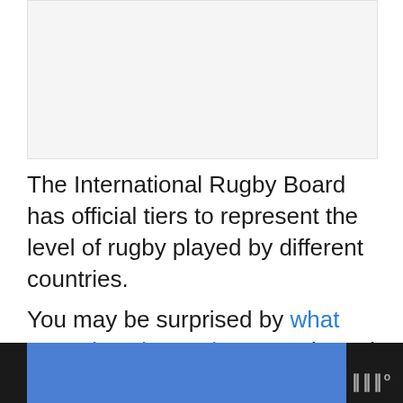[Figure (photo): Placeholder image area, light gray background]
The International Rugby Board has official tiers to represent the level of rugby played by different countries.
You may be surprised by what countries play rugby. Canada and the United States have a long history with t... d